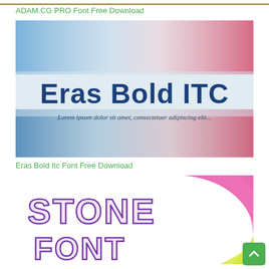[Figure (photo): Partial top strip of a previous image (brown/golden tones), cropped at top of page]
ADAM.CG PRO Font Free Download
[Figure (photo): Eras Bold ITC font preview image with blue, white and pink/red watercolor background. Large text reads 'Eras Bold ITC' in dark blue bold sans-serif font. Below it says 'Lorem ipsum dolor sit amet, consectetuer adipiscing elit...']
Eras Bold Itc Font Free Download
[Figure (photo): Stone font preview image showing 'STONE' text in large purple outlined decorative letters with hatching, and partial 'FONT' below. Pink/magenta wavy shape on the right side, yellow-green shape at bottom right.]